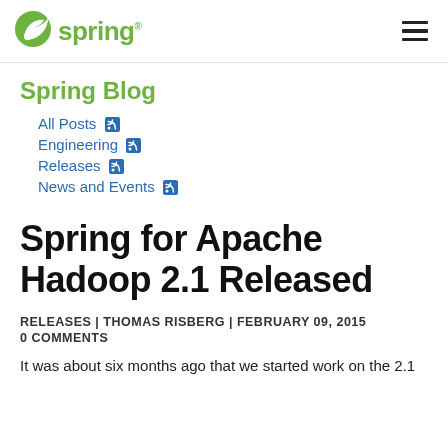spring
Spring Blog
All Posts
Engineering
Releases
News and Events
Spring for Apache Hadoop 2.1 Released
RELEASES | THOMAS RISBERG | FEBRUARY 09, 2015
0 COMMENTS
It was about six months ago that we started work on the 2.1